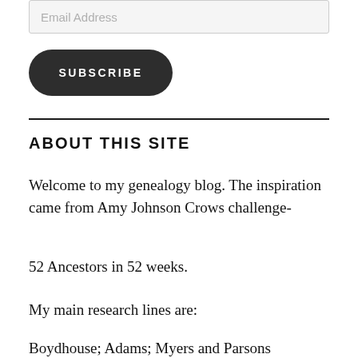[Figure (other): Email address input field with placeholder text 'Email Address']
[Figure (other): Dark rounded SUBSCRIBE button]
ABOUT THIS SITE
Welcome to my genealogy blog. The inspiration came from Amy Johnson Crows challenge-
52 Ancestors in 52 weeks.
My main research lines are:
Boydhouse; Adams; Myers and Parsons